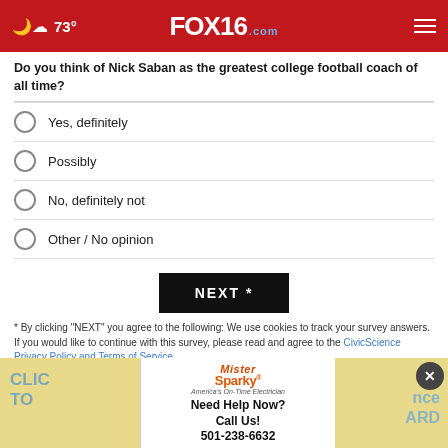73° FOX16.com
Do you think of Nick Saban as the greatest college football coach of all time?
Yes, definitely
Possibly
No, definitely not
Other / No opinion
NEXT *
* By clicking "NEXT" you agree to the following: We use cookies to track your survey answers. If you would like to continue with this survey, please read and agree to the CivicScience Privacy Policy and Terms of Service
[Figure (other): Mister Sparky advertisement banner: Need Help Now? Call Us! 501-238-6632]